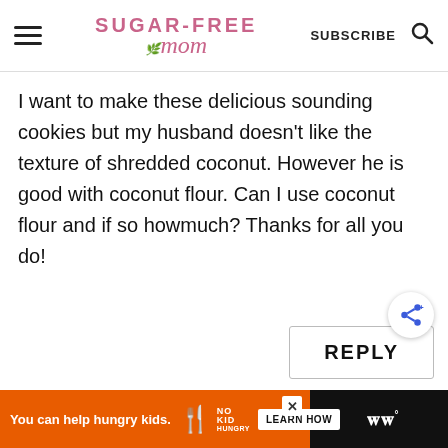Sugar-Free Mom — SUBSCRIBE
I want to make these delicious sounding cookies but my husband doesn't like the texture of shredded coconut. However he is good with coconut flour. Can I use coconut flour and if so howmuch? Thanks for all you do!
REPLY
You can help hungry kids. NO KID HUNGRY LEARN HOW